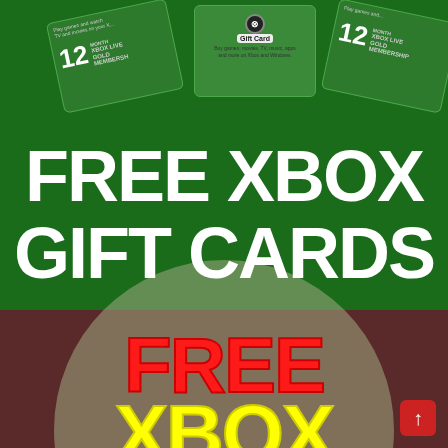[Figure (illustration): Three Xbox gift cards / Xbox Live Gold Membership cards fanned out at the top on a dark green background. The center card is labeled 'Gift Card' with an Xbox logo. Left and right cards show '12 MONTH XBOX LIVE GOLD MEMBERSHIP'.]
FREE XBOX GIFT CARDS
FREE
XBOX